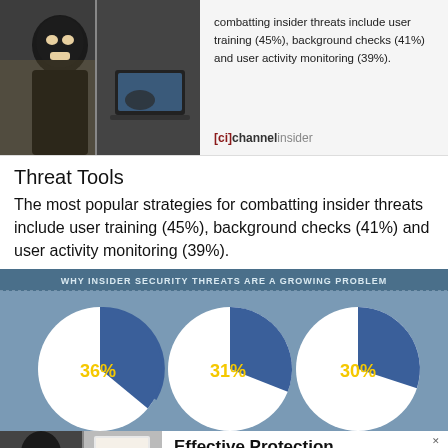[Figure (photo): Two photos side by side: left shows a person in a black ski mask (hacker figure), right shows someone at a laptop]
combatting insider threats include user training (45%), background checks (41%) and user activity monitoring (39%).
[ci]channelinsider
Threat Tools
The most popular strategies for combatting insider threats include user training (45%), background checks (41%) and user activity monitoring (39%).
[Figure (infographic): Infographic titled 'WHY INSIDER SECURITY THREATS ARE A GROWING PROBLEM' showing three pie charts with values 36%, 31%, and 30% on a blue-grey background]
[Figure (photo): Two partial photos at bottom: left shows person in black ski mask, right shows a door/entrance scene]
Effective Protection
The most effective tools in